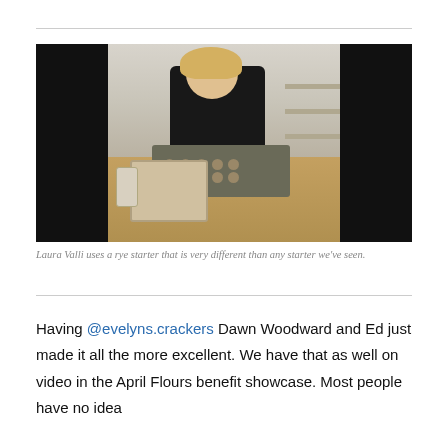[Figure (photo): A woman with blonde hair wearing a black patterned top stands behind a wooden worktable in a commercial kitchen. She is working with a baking tray filled with round dough balls, a large clear container of dough/batter, and other baking supplies. The image has black sidebars on left and right (letterboxed). Background shows kitchen shelving with equipment.]
Laura Valli uses a rye starter that is very different than any starter we've seen.
Having @evelyns.crackers Dawn Woodward and Ed just made it all the more excellent. We have that as well on video in the April Flours benefit showcase. Most people have no idea